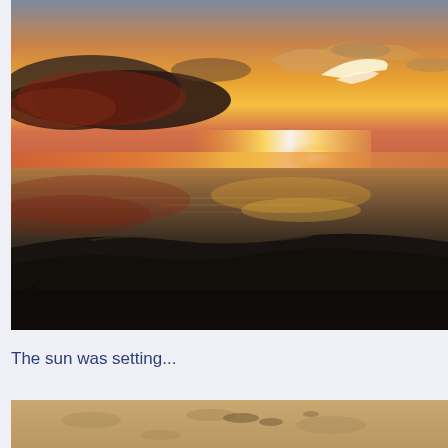[Figure (photo): Ocean sunset photo taken from a boat. The sky shows vivid orange, red, and golden hues near the horizon with dramatic dark clouds on the left. The calm ocean surface reflects the warm sunset colors. In the foreground, dark water swells rise close to the camera, likely the wake or hull of the boat.]
The sun was setting...
[Figure (photo): Partial view of a sandy beach or sandy surface, tan/beige colored, with some dark spots or marks visible. The image is cropped, showing only the top portion.]